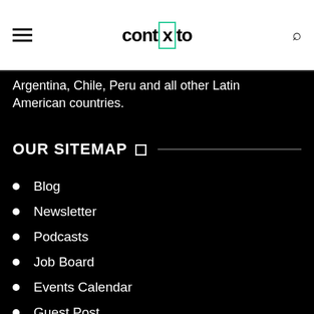contxto
Argentina, Chile, Peru and all other Latin American countries.
OUR SITEMAP
Blog
Newsletter
Podcasts
Job Board
Events Calendar
Guest Post
Advertise
About Us